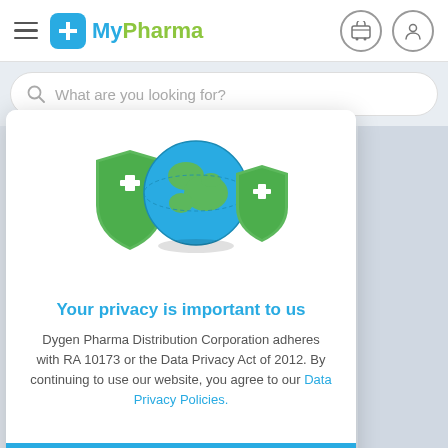[Figure (logo): MyPharma logo with blue cross icon and teal/green text]
What are you looking for?
[Figure (illustration): Globe with two green medical shield icons with white cross symbols]
Your privacy is important to us
Dygen Pharma Distribution Corporation adheres with RA 10173 or the Data Privacy Act of 2012. By continuing to use our website, you agree to our Data Privacy Policies.
I AGREE